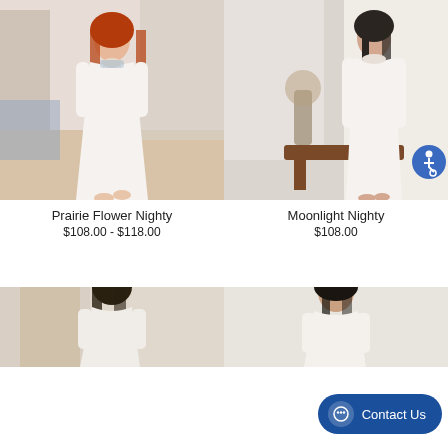[Figure (photo): Woman with curly red hair wearing a white Prairie Flower Nighty, standing in a bright living room with blue-and-white floral armchair and bookshelf]
[Figure (photo): Woman in white Moonlight Nighty standing near a window next to a wooden bench with dried floral arrangement]
Prairie Flower Nighty
$108.00 - $118.00
Moonlight Nighty
$108.00
[Figure (photo): Partial view of a woman with dark hair in a nightgown, standing in a warmly lit interior]
[Figure (photo): Partial view of a woman in a white nightgown, cropped at bottom of page]